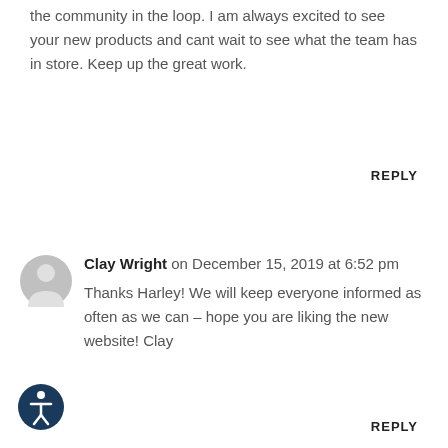the community in the loop. I am always excited to see your new products and cant wait to see what the team has in store. Keep up the great work.
REPLY
[Figure (illustration): Gray circular user avatar icon]
Clay Wright on December 15, 2019 at 6:52 pm
Thanks Harley! We will keep everyone informed as often as we can – hope you are liking the new website! Clay
[Figure (illustration): Dark blue circular accessibility icon with person figure]
REPLY